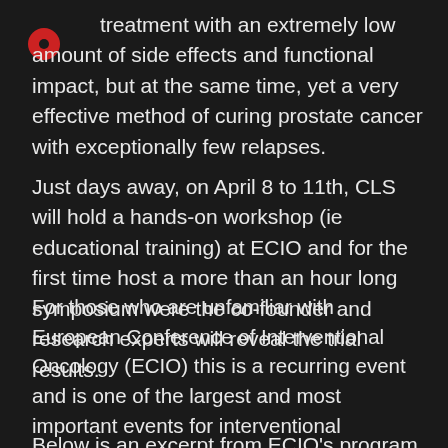treatment with an extremely low amount of side effects and functional impact, but at the same time, yet a very effective method of curing prostate cancer with exceptionally few relapses.
Just days away, on April 8 to 11th, CLS will hold a hands-on workshop (ie educational training) at ECIO and for the first time host a more than an hour long symposium were the co-founder and research experts will reveal the trial results.
For those who are unfamiliar with European Conference of Interventional Oncology (ECIO) this is a recurring event and is one of the largest and most important events for interventional radiologists and in general for oncology in Europe.
Below is an excerpt from ECIO's program in regards